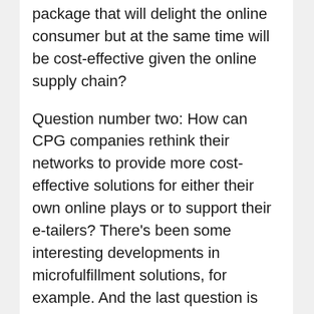…have question number one: What is the right package that will delight the online consumer but at the same time will be cost-effective given the online supply chain?
Question number two: How can CPG companies rethink their networks to provide more cost-effective solutions for either their own online plays or to support their e-tailers? There's been some interesting developments in microfulfillment solutions, for example. And the last question is about retail partnerships. It's a joint problem: E-commerce is driving up supply-chain costs for both retailers and CPG companies, so what are the partnerships and solutions that are possible to reduce cost? That's another area to explore.